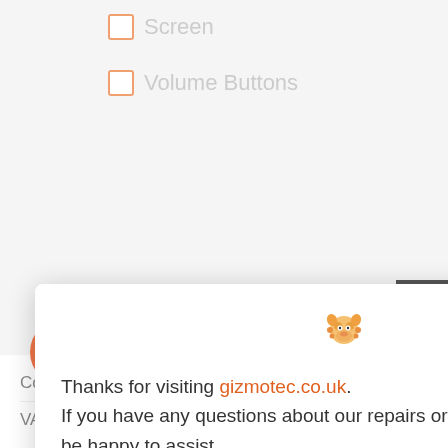Screen
Volume Buttons
[Figure (screenshot): Chat popup modal from gizmotec.co.uk website with mascot icon, close button, greeting text, and 'How can I help?' prompt. Background shows checkbox repair selection form and GizmoTec logo. Bottom shows Cost of repair £0.00 and VAT £0.00 fields with chat bubble button and navigation arrows.]
Thanks for visiting gizmotec.co.uk. If you have any questions about our repairs or the process I would be happy to assist.
How can I help?
Cost of repair:
£0.00
VAT:
£0.00